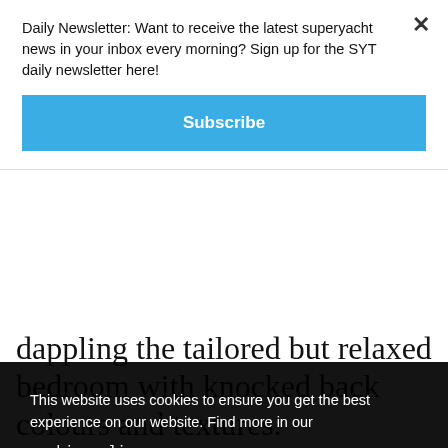Daily Newsletter: Want to receive the latest superyacht news in your inbox every morning? Sign up for the SYT daily newsletter here!
Subscribe
dappling the tailored but relaxed bedroom with knocked back colours and textures.
[Figure (photo): Partial view of a superyacht interior room, showing ceiling and walls.]
This website uses cookies to ensure you get the best experience on our website. Find more in our cookie policy.
Got it!